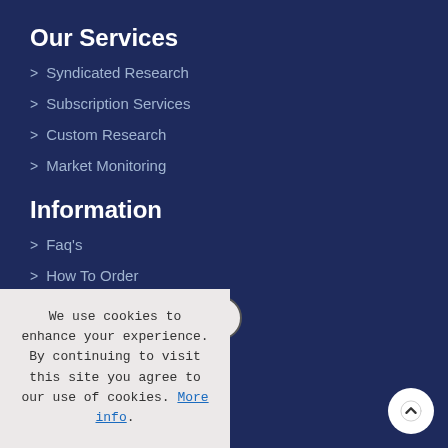Our Services
> Syndicated Research
> Subscription Services
> Custom Research
> Market Monitoring
Information
> Faq's
> How To Order
> Privacy Policy
We use cookies to enhance your experience. By continuing to visit this site you agree to our use of cookies. More info.